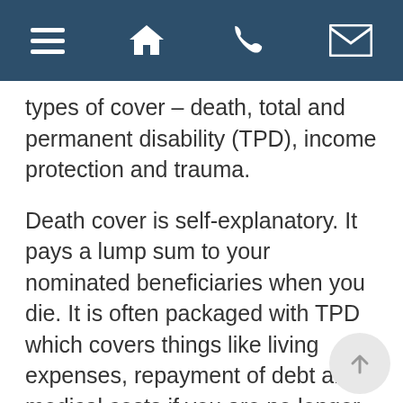[Navigation bar with menu, home, phone, and email icons]
types of cover – death, total and permanent disability (TPD), income protection and trauma.
Death cover is self-explanatory. It pays a lump sum to your nominated beneficiaries when you die. It is often packaged with TPD which covers things like living expenses, repayment of debt and medical costs if you are no longer able to work. If your TPD is held through your super fund, generally this